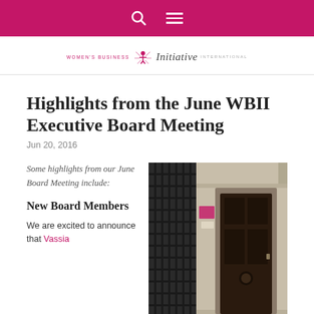Navigation bar with search and menu icons
[Figure (logo): Women's Business Initiative International logo with starburst icon, italic 'Initiative' text]
Highlights from the June WBII Executive Board Meeting
Jun 20, 2016
Some highlights from our June Board Meeting include:
New Board Members
We are excited to announce that Vassia
[Figure (photo): Exterior photograph of a building entrance with a dark wooden door, WBII sign on the wall, stone facade]